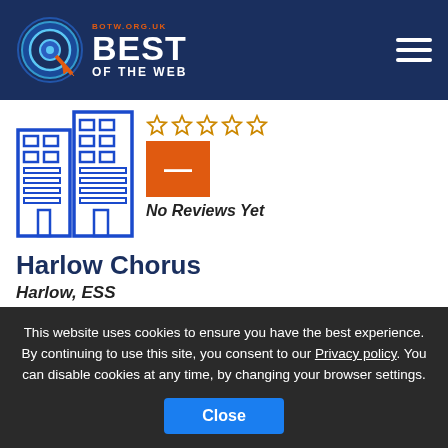BOTW.ORG.UK BEST OF THE WEB
[Figure (illustration): Blue building/office block icon outline illustration]
[Figure (other): Orange box with dash, and five empty star rating icons. Text: No Reviews Yet]
Harlow Chorus
Harlow, ESS
An amateur chorus of 100 voices celebrating over 30 years of choral singing in Harlow. View concert reviews and history plus how to join
This website uses cookies to ensure you have the best experience. By continuing to use this site, you consent to our Privacy policy. You can disable cookies at any time, by changing your browser settings.
Close